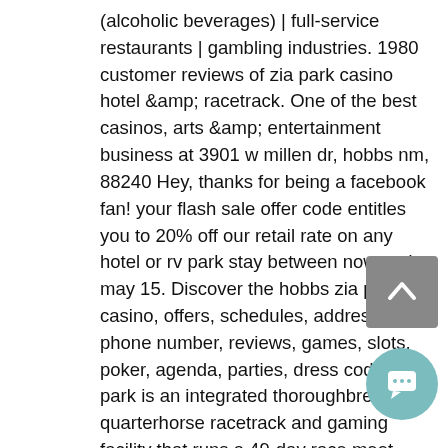(alcoholic beverages) | full-service restaurants | gambling industries. 1980 customer reviews of zia park casino hotel &amp; racetrack. One of the best casinos, arts &amp; entertainment business at 3901 w millen dr, hobbs nm, 88240 Hey, thanks for being a facebook fan! your flash sale offer code entitles you to 20% off our retail rate on any hotel or rv park stay between now and may 15. Discover the hobbs zia park casino, offers, schedules, address, phone number, reviews, games, slots, poker, agenda, parties, dress code. Zia park is an integrated thoroughbred and quarterhorse racetrack and gaming facility that runs a 49-day race meet. Like and follow sunray park &amp; casino on facebook to never miss out on discounts and more chances to win!! Zia park casino hotel racetrack. 7020 1810 0000 3290 8595. Check out the notice, hoos park racing does she s groups continue down by covid 19. Alexa, anthony, cody...
[Figure (other): Scroll-to-top button (grey square with upward chevron arrow icon)]
[Figure (other): Chat/message button (teal circle with speech bubble icon)]